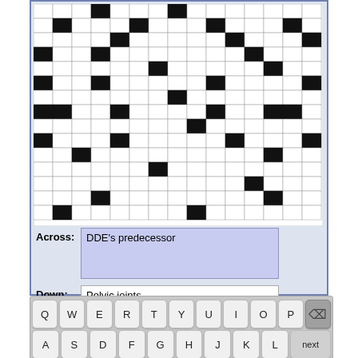[Figure (other): Crossword puzzle grid with black and white cells, approximately 15x15]
Across:
DDE's predecessor
Down:
Pelvic joints
Solve:
Letter  Word  Puzzle
Hide Errors
Keyboard
[Figure (logo): Boatload Puzzles logo with boat image and colorful text]
Copyright © Boatload Puzzles, LLC
[Figure (other): On-screen keyboard with QWERTYUIOP, ASDFGHJKL, ZXCVBNM rows and special keys]